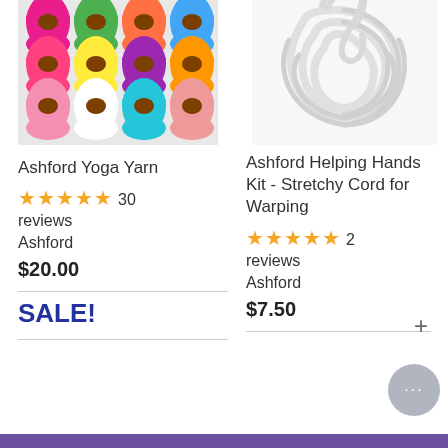[Figure (photo): Colorful thread/yarn spools in multiple colors arranged in rows - product image for Ashford Yoga Yarn]
[Figure (photo): White stretchy cord/rope coiled in a bundle - product image for Ashford Helping Hands Kit]
Ashford Yoga Yarn
★★★★★ 30 reviews
Ashford
$20.00
Ashford Helping Hands Kit - Stretchy Cord for Warping
★★★★★ 2 reviews
Ashford
$7.50
SALE!